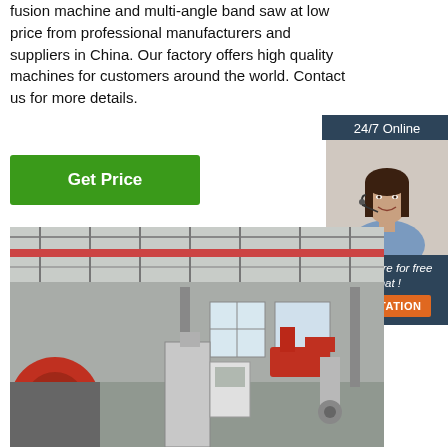fusion machine and multi-angle band saw at low price from professional manufacturers and suppliers in China. Our factory offers high quality machines for customers around the world. Contact us for more details.
[Figure (other): Button: Get Price (green background, white text)]
[Figure (other): Sidebar widget with '24/7 Online' header, photo of female customer service representative with headset, 'Click here for free chat!' text, and orange QUOTATION button]
[Figure (photo): Factory interior showing industrial machinery including a large red wheel/spool, robotic arm equipment, overhead cranes, and high ceiling with industrial lighting]